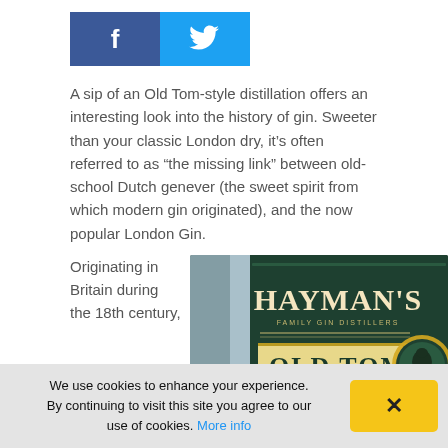[Figure (other): Social media share buttons: Facebook (dark blue with f) and Twitter (light blue with bird icon)]
A sip of an Old Tom-style distillation offers an interesting look into the history of gin. Sweeter than your classic London dry, it's often referred to as “the missing link” between old-school Dutch genever (the sweet spirit from which modern gin originated), and the now popular London Gin.
Originating in Britain during the 18th century,
[Figure (photo): Close-up photo of a Hayman's Family Gin Distillers Old Tom Gin bottle label on a dark green bottle]
We use cookies to enhance your experience. By continuing to visit this site you agree to our use of cookies. More info